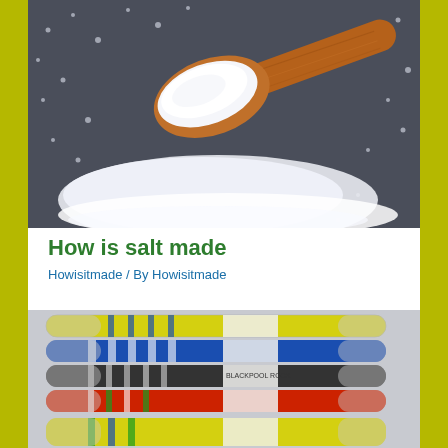[Figure (photo): A wooden spoon heaped with white salt crystals, surrounded by scattered salt on a dark surface.]
How is salt made
Howisitmade / By Howisitmade
[Figure (photo): Several sticks of Blackpool rock candy in colorful striped wrappers (yellow, blue, red, green, black/white) with labels, displayed side by side.]